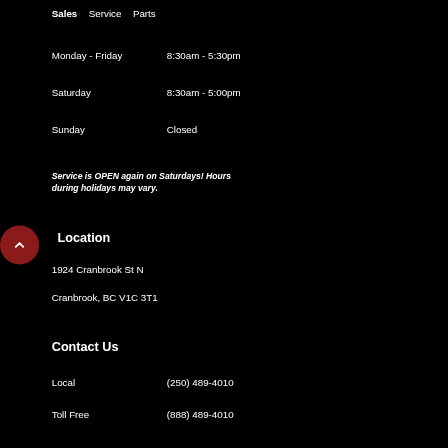Sales  Service  Parts
Monday - Friday    8:30am - 5:30pm
Saturday    8:30am - 5:00pm
Sunday    Closed
Service is OPEN again on Saturdays! Hours during holidays may vary.
Location
1924 Cranbrook St N
Cranbrook, BC V1C 3T1
Contact Us
Local    (250) 489-4010
Toll Free    (888) 489-4010